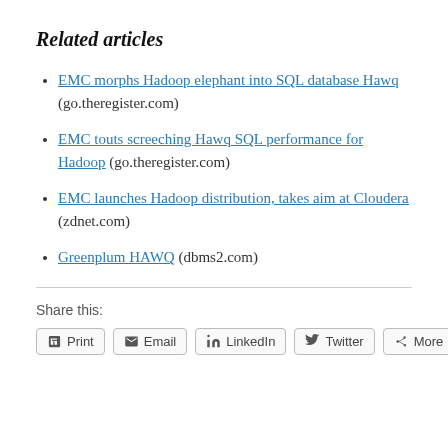Related articles
EMC morphs Hadoop elephant into SQL database Hawq (go.theregister.com)
EMC touts screeching Hawq SQL performance for Hadoop (go.theregister.com)
EMC launches Hadoop distribution, takes aim at Cloudera (zdnet.com)
Greenplum HAWQ (dbms2.com)
Share this:
Print | Email | LinkedIn | Twitter | More